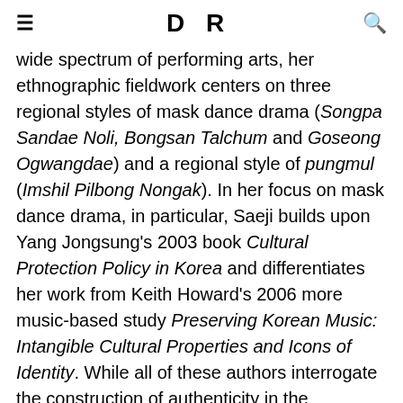DR
wide spectrum of performing arts, her ethnographic fieldwork centers on three regional styles of mask dance drama (Songpa Sandae Noli, Bongsan Talchum and Goseong Ogwangdae) and a regional style of pungmul (Imshil Pilbong Nongak). In her focus on mask dance drama, in particular, Saeji builds upon Yang Jongsung’s 2003 book Cultural Protection Policy in Korea and differentiates her work from Keith Howard’s 2006 more music-based study Preserving Korean Music: Intangible Cultural Properties and Icons of Identity. While all of these authors interrogate the construction of authenticity in the transmission process, Saeji integrates her discussion with concerns about memory and heritage.